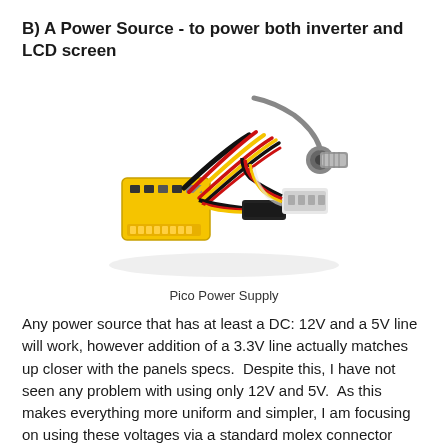B) A Power Source - to power both inverter and LCD screen
[Figure (photo): Pico Power Supply unit with yellow PCB board and multiple colored cables (black, red, yellow) and various connectors including SATA and Molex connectors]
Pico Power Supply
Any power source that has at least a DC: 12V and a 5V line will work, however addition of a 3.3V line actually matches up closer with the panels specs.  Despite this, I have not seen any problem with using only 12V and 5V.  As this makes everything more uniform and simpler, I am focusing on using these voltages via a standard molex connector